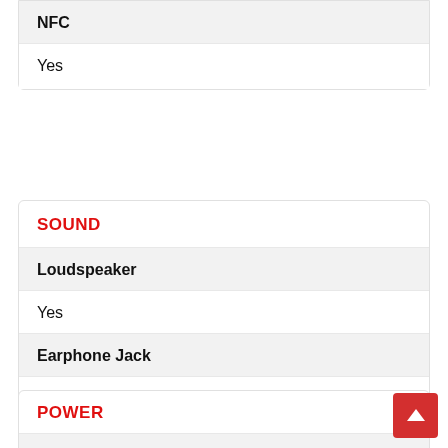| NFC |
| --- |
| Yes |
SOUND
| Loudspeaker | Earphone Jack |
| --- | --- |
| Yes | Yes |
POWER
Battery